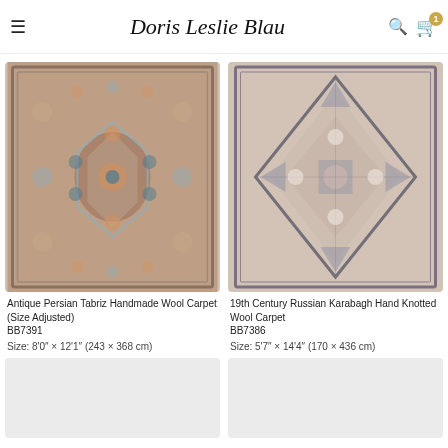Doris Leslie Blau
[Figure (photo): Antique Persian Tabriz rug with floral and geometric medallion patterns in muted terracotta, blue, and cream tones]
Antique Persian Tabriz Handmade Wool Carpet (Size Adjusted)
BB7391
Size: 8'0" × 12'1" (243 × 368 cm)
[Figure (photo): 19th Century Russian Karabagh rug with large diamond medallion pattern in blush pink and dark grey tones]
19th Century Russian Karabagh Hand Knotted Wool Carpet
BB7386
Size: 5'7" × 14'4" (170 × 436 cm)
[Figure (photo): Placeholder rug image (light grey, loading)]
[Figure (photo): Placeholder rug image (light grey, loading)]